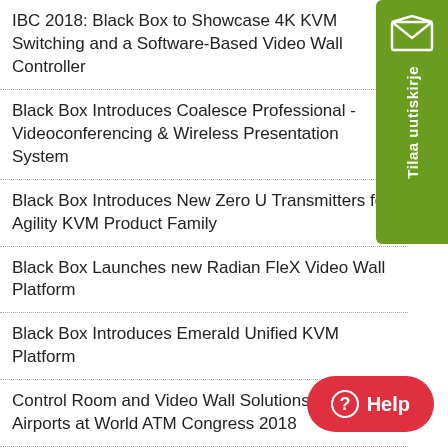IBC 2018: Black Box to Showcase 4K KVM Switching and a Software-Based Video Wall Controller
Black Box Introduces Coalesce Professional - Videoconferencing & Wireless Presentation System
Black Box Introduces New Zero U Transmitters for Agility KVM Product Family
Black Box Launches new Radian FleX Video Wall Platform
Black Box Introduces Emerald Unified KVM Platform
Control Room and Video Wall Solutions for Airports at World ATM Congress 2018
[Figure (illustration): Green sidebar with envelope/mail icon and rotated text 'Tilaa uutiskirje' (Subscribe to newsletter in Finnish)]
[Figure (illustration): Red rounded pill button with help circle icon and 'Help' text]